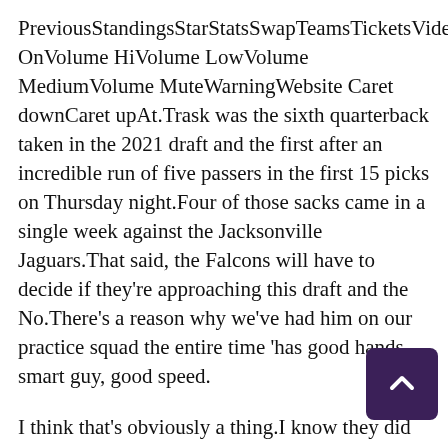PreviousStandingsStarStatsSwapTeamsTicketsVideoVisibilityOffVisibility OnVolume HiVolume LowVolume MediumVolume MuteWarningWebsite Caret downCaret upAt.Trask was the sixth quarterback taken in the 2021 draft and the first after an incredible run of five passers in the first 15 picks on Thursday night.Four of those sacks came in a single week against the Jacksonville Jaguars.That said, the Falcons will have to decide if they're approaching this draft and the No.There's a reason why we've had him on our practice squad the entire time 'has good hands, smart guy, good speed.
I think that's obviously a thing.I know they did the best they could, but they came up short!Offensively, although the Falcons moved the ball well in the first half, they couldn't punch the ball in the end zone.The next Chiefs punt would not come easy after a tumultuous series.If the next Joe Montana is sitting there, you take